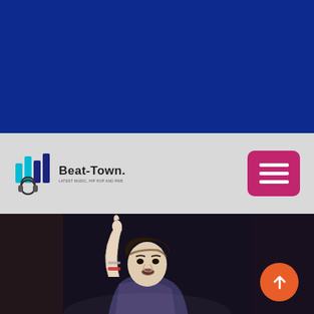[Figure (illustration): Solid dark navy/royal blue banner background filling the top portion of the page]
[Figure (logo): Beat-Town logo with colorful bar-chart style icon (cyan and dark blue bars with headphones) and text 'Beat-Town' with tagline below]
[Figure (illustration): Pink/magenta hamburger menu button (three white horizontal lines on pink rounded rectangle background)]
[Figure (photo): Photo of a young male performer with dark hair raising one hand with fingers in a gesture, wearing bracelets, performing on stage with dark background. An orange circular up-arrow button is visible in the lower right.]